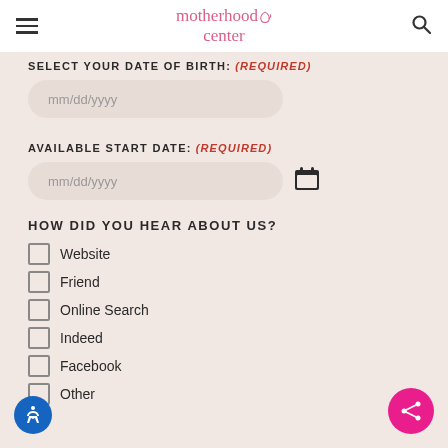motherhood center
SELECT YOUR DATE OF BIRTH: (REQUIRED)
mm/dd/yyyy
AVAILABLE START DATE: (REQUIRED)
mm/dd/yyyy
HOW DID YOU HEAR ABOUT US?
Website
Friend
Online Search
Indeed
Facebook
Other